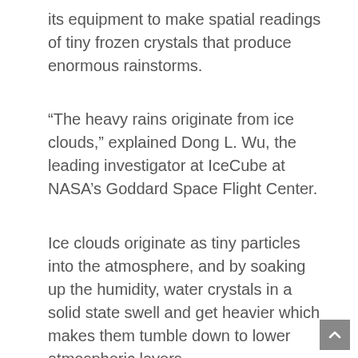its equipment to make spatial readings of tiny frozen crystals that produce enormous rainstorms.
“The heavy rains originate from ice clouds,” explained Dong L. Wu, the leading investigator at IceCube at NASA’s Goddard Space Flight Center.
Ice clouds originate as tiny particles into the atmosphere, and by soaking up the humidity, water crystals in a solid state swell and get heavier which makes them tumble down to lower atmospheric layers.